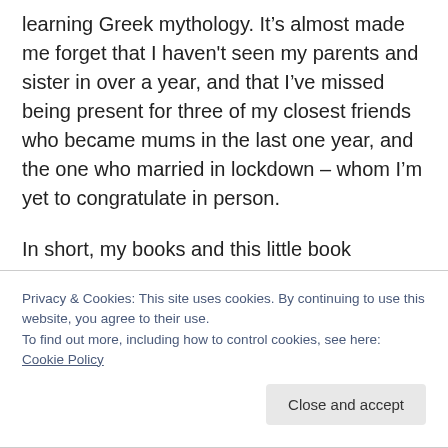learning Greek mythology. It’s almost made me forget that I haven't seen my parents and sister in over a year, and that I’ve missed being present for three of my closest friends who became mums in the last one year, and the one who married in lockdown – whom I’m yet to congratulate in person.
In short, my books and this little book community really kept me sane.
So, above everything else, this is a note of gratitude. If
Privacy & Cookies: This site uses cookies. By continuing to use this website, you agree to their use.
To find out more, including how to control cookies, see here: Cookie Policy
Close and accept